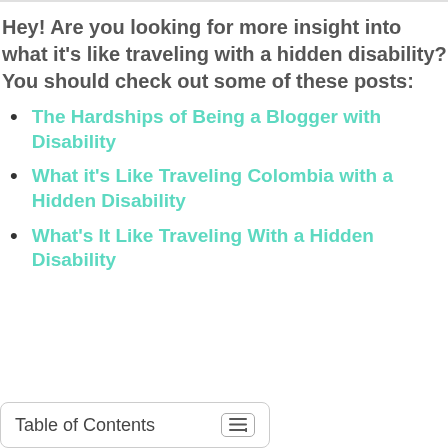Hey! Are you looking for more insight into what it's like traveling with a hidden disability? You should check out some of these posts:
The Hardships of Being a Blogger with Disability
What it's Like Traveling Colombia with a Hidden Disability
What's It Like Traveling With a Hidden Disability
Table of Contents